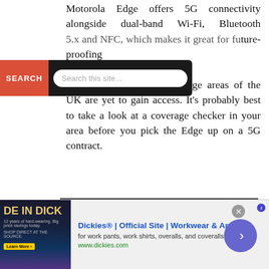Motorola Edge offers 5G connectivity alongside dual-band Wi-Fi, Bluetooth ...NFC... ...future-proofing ...high-speed 5G rollout still taking place, large areas of the UK are yet to gain access. It's probably best to take a look at a coverage checker in your area before you pick the Edge up on a 5G contract.
[Figure (screenshot): Search bar overlay with red SEARCH button and text input field reading 'Search this site...']
[Figure (photo): Motorola Edge smartphone photographed on a dark textured surface, showing the home screen with apps and time 15:24]
[Figure (screenshot): Advertisement banner for Dickies workwear. Shows 'DE IN DICK' branded image on left, title 'Dickies® | Official Site | Workkwear & Apparel', description 'for work pants, work shirts, overalls, and coveralls.', URL 'www.dickies.com', close X button, and blue circular arrow button on right.]